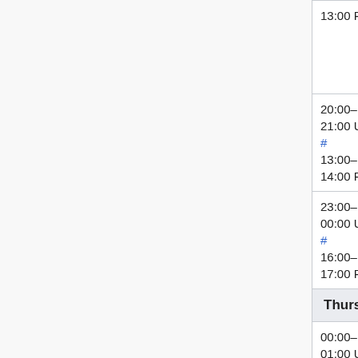| Time | Event | Person |
| --- | --- | --- |
| 13:00 PDT |  |  |
| 20:00–21:00 UTC #
13:00–14:00 PDT | Services – Graphoid / Citoid / ORES | Aaron (
Andy (a |
| 23:00–00:00 UTC #
16:00–17:00 PDT | Evening SWAT
(Max 6 patches) | Roan (Roank
Niharik
(Nihar
(Urban |
| Thursday, March 19 |  |  |
| 00:00–01:00 UTC #
(Mo # | Phabricator update | Mukune
(twent |